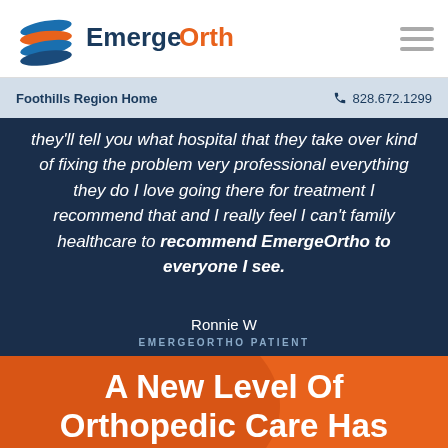[Figure (logo): EmergeOrtho logo with blue/orange ribbon graphic and text 'EmergeOrtho' where Emerge is dark blue and Ortho is orange]
Foothills Region Home   828.672.1299
they'll tell you what hospital that they take over kind of fixing the problem very professional everything they do I love going there for treatment I recommend that and I really feel I can't family healthcare to recommend EmergeOrtho to everyone I see.
Ronnie W
EMERGEORTHO PATIENT
A New Level Of Orthopedic Care Has Emerged
[Figure (infographic): Bottom icon bar with 5 items: Request An Appointment (calendar icon, gray bg), Urgent Care (pin icon, dark blue bg), Find A Doctor (magnifier icon, gray bg), Patient Portal (person icon, gray bg), Pay Online (dollar icon, gray bg)]